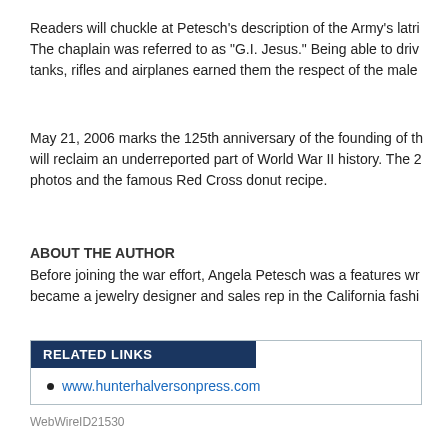Readers will chuckle at Petesch's description of the Army's latri... The chaplain was referred to as "G.I. Jesus." Being able to drive tanks, rifles and airplanes earned them the respect of the male...
May 21, 2006 marks the 125th anniversary of the founding of th... will reclaim an underreported part of World War II history. The 2... photos and the famous Red Cross donut recipe.
ABOUT THE AUTHOR
Before joining the war effort, Angela Petesch was a features wr... became a jewelry designer and sales rep in the California fashi...
www.hunterhalversonpress.com
WebWireID21530